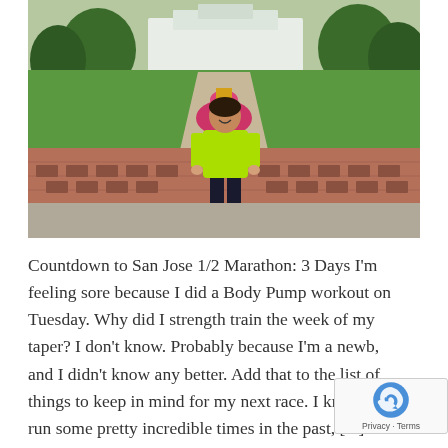[Figure (photo): A woman in a bright yellow-green athletic shirt and black capri leggings stands smiling in front of a decorative red brick wall. Behind her is a landscaped park with a greenhouse or conservatory building visible in the background, surrounded by green lawns, trees, and flower beds.]
Countdown to San Jose 1/2 Marathon: 3 Days I'm feeling sore because I did a Body Pump workout on Tuesday. Why did I strength train the week of my taper? I don't know. Probably because I'm a newb, and I didn't know any better. Add that to the list of things to keep in mind for my next race. I know I've run some pretty incredible times in the past, [...]